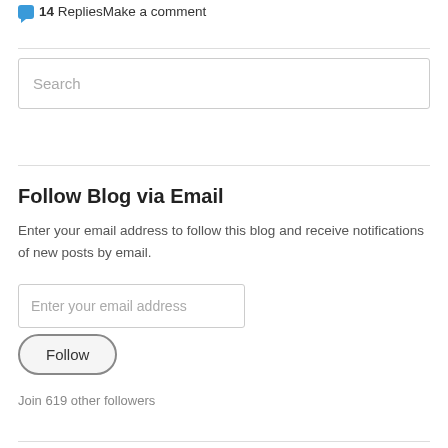14 RepliesMake a comment
Search
Follow Blog via Email
Enter your email address to follow this blog and receive notifications of new posts by email.
Enter your email address
Follow
Join 619 other followers